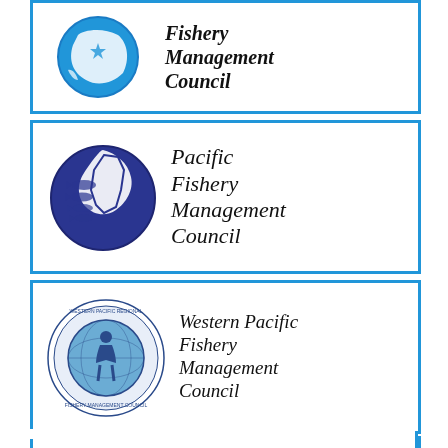[Figure (logo): North Pacific Fishery Management Council logo - partial view at top, blue border card with circular Alaska map logo and italic text]
[Figure (logo): Pacific Fishery Management Council logo - blue border card with circular blue fish/map logo and italic text reading 'Pacific Fishery Management Council']
[Figure (logo): Western Pacific Fishery Management Council logo - blue border card with circular seal logo and italic text reading 'Western Pacific Fishery Management Council']
[Figure (logo): New England Fishery Management Council logo - blue border card with italic text and fish lure image]